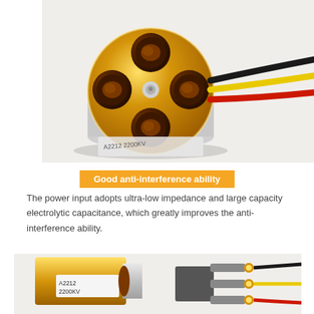[Figure (photo): Close-up top view of a gold/bronze brushless motor with copper windings visible in four openings, three colored wires (black, yellow, red) extending to the right, on a light background]
Good anti-interference ability
The power input adopts ultra-low impedance and large capacity electrolytic capacitance, which greatly improves the anti-interference ability.
[Figure (photo): Side view of a gold brushless motor with label A2212 2200KV, and three yellow-tipped bullet connectors with wires on the right side]